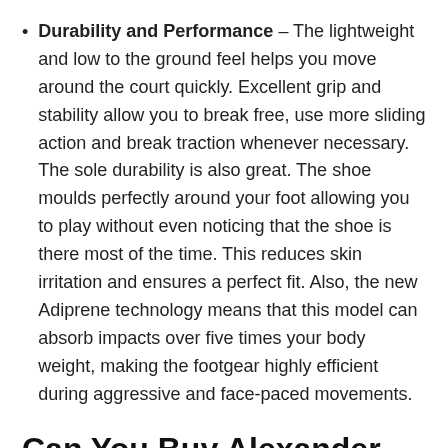Durability and Performance – The lightweight and low to the ground feel helps you move around the court quickly. Excellent grip and stability allow you to break free, use more sliding action and break traction whenever necessary. The sole durability is also great. The shoe moulds perfectly around your foot allowing you to play without even noticing that the shoe is there most of the time. This reduces skin irritation and ensures a perfect fit. Also, the new Adiprene technology means that this model can absorb impacts over five times your body weight, making the footgear highly efficient during aggressive and face-paced movements.
Can You Buy Alexander Zverev's Tennis Shoes?
I would definitely recommend this tennis shoes to anyone